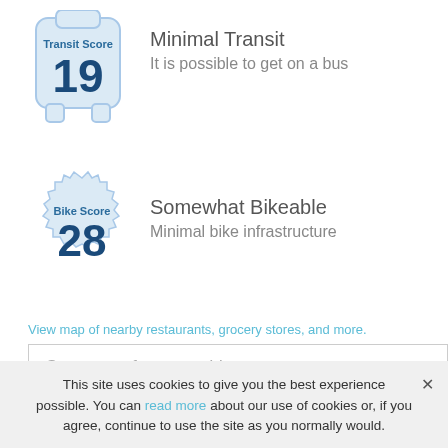[Figure (infographic): Transit Score badge showing score of 19, styled as a bus shape with light blue color]
Minimal Transit
It is possible to get on a bus
[Figure (infographic): Bike Score badge showing score of 28, styled as a gear/cog shape with light blue color]
Somewhat Bikeable
Minimal bike infrastructure
View map of nearby restaurants, grocery stores, and more.
Get scores for your address
This listing is courtesy of The Cutting Edge
This site uses cookies to give you the best experience possible. You can read more about our use of cookies or, if you agree, continue to use the site as you normally would.